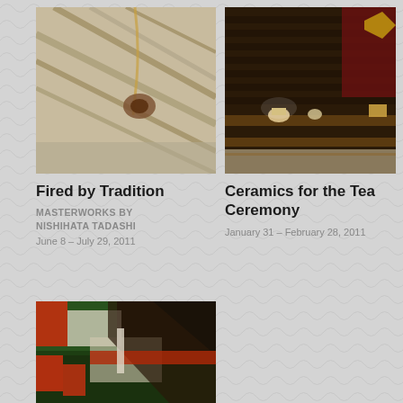[Figure (photo): Close-up of a textured ceramic vessel with diagonal scored lines and glaze drips, beige/sandy color]
[Figure (photo): Dark wood-paneled room displaying ceramic pieces on shelves, warm lighting, tea ceremony exhibition space]
Fired by Tradition
MASTERWORKS BY NISHIHATA TADASHI
June 8 – July 29, 2011
Ceramics for the Tea Ceremony
January 31 – February 28, 2011
[Figure (photo): Colorful decorative ceramic or textile piece with geometric patterns in red, green, white and black]